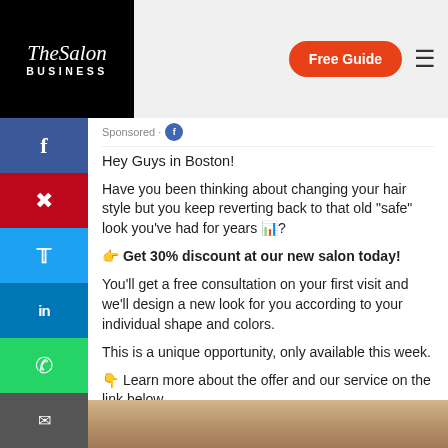[Figure (logo): The Salon Business logo — white text on black background, script font for 'The Salon', bold caps for 'BUSINESS']
Free Guide
Sponsored
Hey Guys in Boston!
Have you been thinking about changing your hair style but you keep reverting back to that old "safe" look you've had for years 👤?
👉 Get 30% discount at our new salon today!
You'll get a free consultation on your first visit and we'll design a new look for you according to your individual shape and colors.
This is a unique opportunity, only available this week.
👇 Learn more about the offer and our service on the link below.
[Figure (photo): Partial photo of a woman's face/hair visible at bottom of page]